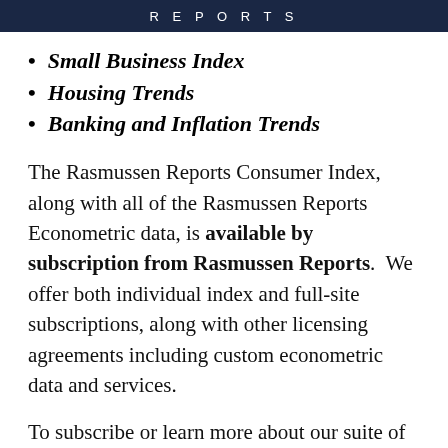REPORTS
Small Business Index
Housing Trends
Banking and Inflation Trends
The Rasmussen Reports Consumer Index, along with all of the Rasmussen Reports Econometric data, is available by subscription from Rasmussen Reports.  We offer both individual index and full-site subscriptions, along with other licensing agreements including custom econometric data and services.
To subscribe or learn more about our suite of long standing proprietary econometric products please call 732-776-9777 or send e-